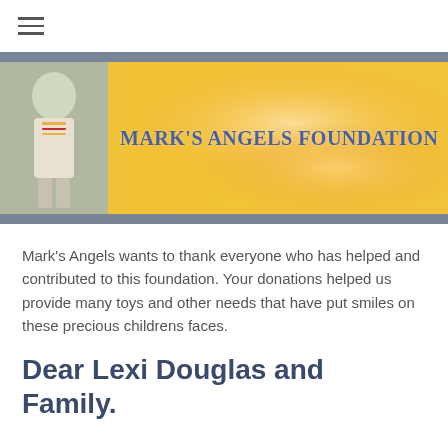☰ (hamburger menu icon)
[Figure (photo): Mark's Angels Foundation banner with a child photo on the left and hands holding in a golden/yellow background on the right, with the text MARK'S ANGELS FOUNDATION overlaid in blue]
MARK'S ANGELS FOUNDATION
Mark's Angels wants to thank everyone who has helped and contributed to this foundation. Your donations helped us provide many toys and other needs that have put smiles on these precious childrens faces.
Dear Lexi Douglas and Family.